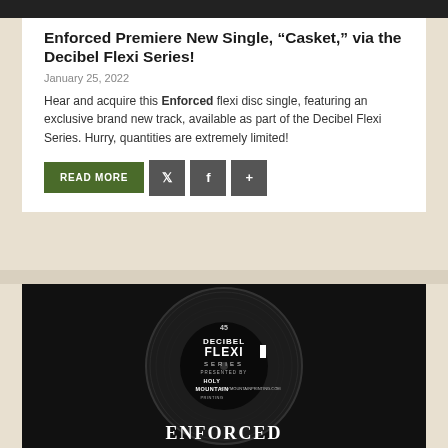[Figure (photo): Top cropped dark image strip (partial vinyl record or dark background)]
Enforced Premiere New Single, “Casket,” via the Decibel Flexi Series!
January 25, 2022
Hear and acquire this Enforced flexi disc single, featuring an exclusive brand new track, available as part of the Decibel Flexi Series. Hurry, quantities are extremely limited!
[Figure (photo): Black and white close-up photo of the Decibel Flexi Series vinyl record label showing '45 DECIBEL FLEXI SERIES PRESENTED BY HOLY MOUNTAIN PRINTING HOLYMOUNTAINPRINTING.COM' and partial Enforced logo text at the bottom]